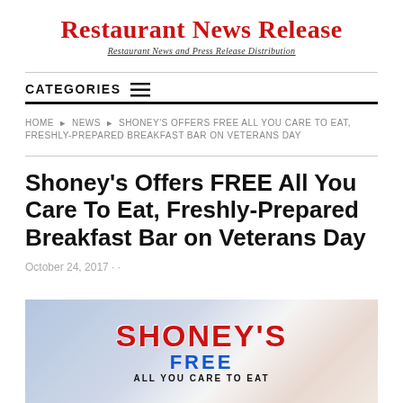Restaurant News Release
Restaurant News and Press Release Distribution
CATEGORIES
HOME > NEWS > SHONEY'S OFFERS FREE ALL YOU CARE TO EAT, FRESHLY-PREPARED BREAKFAST BAR ON VETERANS DAY
Shoney's Offers FREE All You Care To Eat, Freshly-Prepared Breakfast Bar on Veterans Day
October 24, 2017 · ·
[Figure (photo): Shoney's promotional banner showing 'SHONEY'S FREE' text with American flag colors and patriotic design for Veterans Day breakfast promotion]